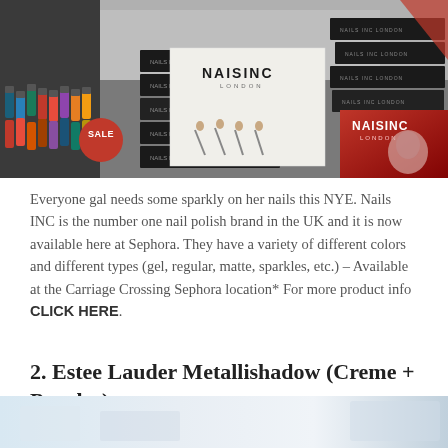[Figure (photo): Nails INC nail polish display at Sephora store showing colorful nail polish bottles on the left, white Nails INC product display card in center with a red SALE badge, and black product boxes with red Nails INC advertisement panel on the right]
Everyone gal needs some sparkly on her nails this NYE. Nails INC is the number one nail polish brand in the UK and it is now available here at Sephora. They have a variety of different colors and different types (gel, regular, matte, sparkles, etc.) – Available at the Carriage Crossing Sephora location* For more product info CLICK HERE.
2. Estee Lauder Metallishadow (Creme + Powder)
[Figure (photo): Partial bottom photo showing a beauty product display, cropped at the bottom of the page]